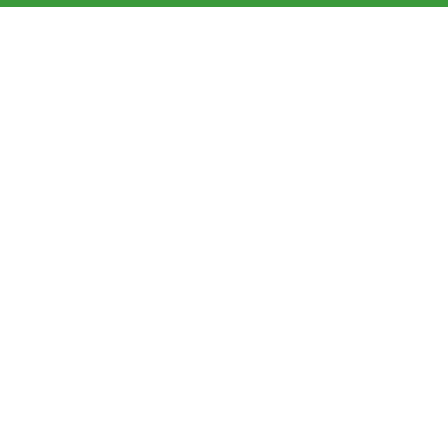[Figure (other): Green top navigation bar with hamburger menu icon]
[Figure (other): Advertisement / blank white space area]
IS MASTERS IN PUBLIC HEALTH A GOOD CAREER 2022
May 17, 2022   MPH   27 Views
Is Masters In Public Health A Good Career 2022. Mph holders may work in patient care, or in fields that include business, technology, biology, environmental science, public health care management, and